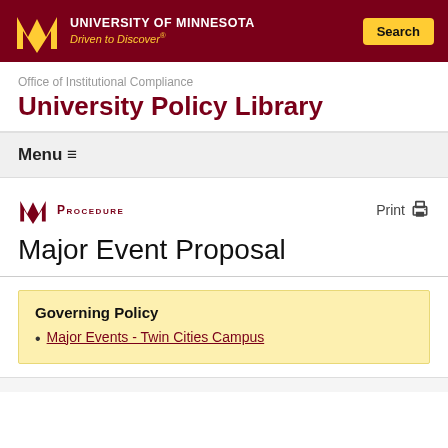University of Minnesota — Driven to Discover®
Office of Institutional Compliance
University Policy Library
Menu ≡
Procedure  Print
Major Event Proposal
Governing Policy
Major Events - Twin Cities Campus